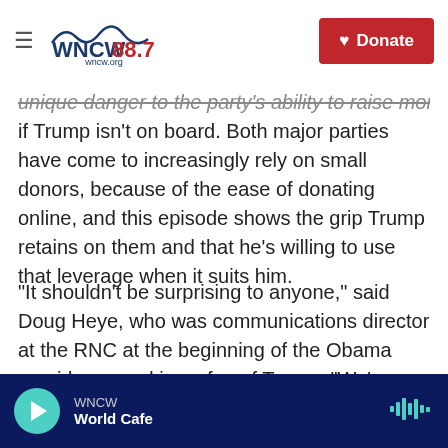WNCW 88.7 wncw.org | Donate
unique danger to the party's ability to raise money, if Trump isn't on board. Both major parties have come to increasingly rely on small donors, because of the ease of donating online, and this episode shows the grip Trump retains on them and that he's willing to use that leverage when it suits him.
"It shouldn't be surprising to anyone," said Doug Heye, who was communications director at the RNC at the beginning of the Obama presidency and is no fan of Trump. "We've known that Trump's loyalty is to himself — not only first and foremost, but only. We've seen that play out any time anyone has said anything critical."
WNCW World Cafe